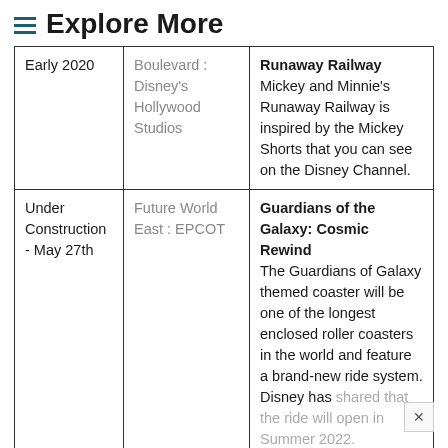≡ Explore More
|  |  |  |
| --- | --- | --- |
| Early 2020 | Boulevard : Disney's Hollywood Studios | Runaway Railway
Mickey and Minnie's Runaway Railway is inspired by the Mickey Shorts that you can see on the Disney Channel. |
| Under Construction - May 27th | Future World East : EPCOT | Guardians of the Galaxy: Cosmic Rewind
The Guardians of Galaxy themed coaster will be one of the longest enclosed roller coasters in the world and feature a brand-new ride system. Disney has shared that the ride will open in Summer 2022. |